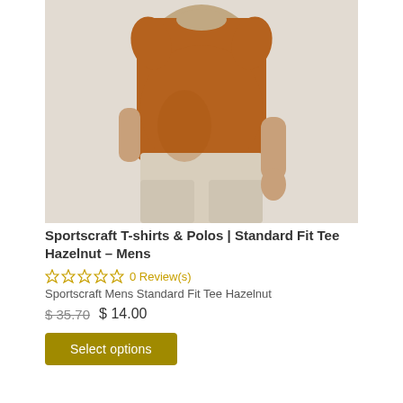[Figure (photo): A man wearing a rust/hazelnut colored short-sleeve t-shirt with cream/off-white shorts, photographed from chest to upper thigh against a light beige background.]
Sportscraft T-shirts & Polos | Standard Fit Tee Hazelnut – Mens
0 Review(s)
Sportscraft Mens Standard Fit Tee Hazelnut
$ 35.70  $ 14.00
Select options